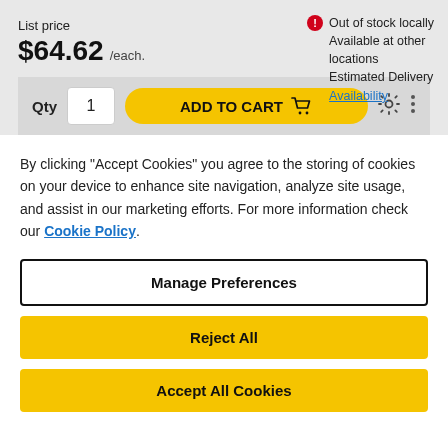List price
$64.62 /each.
Out of stock locally
Available at other locations
Estimated Delivery
Availability
Qty 1
ADD TO CART
By clicking "Accept Cookies" you agree to the storing of cookies on your device to enhance site navigation, analyze site usage, and assist in our marketing efforts. For more information check our Cookie Policy.
Manage Preferences
Reject All
Accept All Cookies